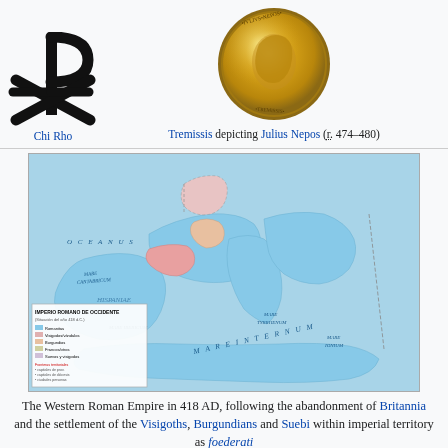[Figure (illustration): Chi Rho Christian symbol — a black overlapping P and X with asterisk-like cross]
Chi Rho
[Figure (photo): Gold Tremissis coin depicting Julius Nepos]
Tremissis depicting Julius Nepos (r. 474–480)
[Figure (map): Map of the Western Roman Empire in 418 AD, showing territories including Britannia, Hispania, Gaul, and the Mediterranean, with legend in Spanish (Imperio Romano de Occidente)]
The Western Roman Empire in 418 AD, following the abandonment of Britannia and the settlement of the Visigoths, Burgundians and Suebi within imperial territory as foederati